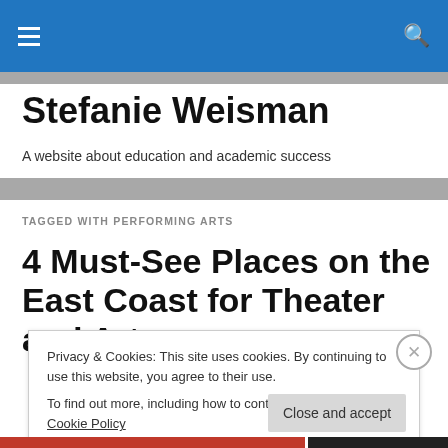Stefanie Weisman
A website about education and academic success
TAGGED WITH PERFORMING ARTS
4 Must-See Places on the East Coast for Theater and Art
Privacy & Cookies: This site uses cookies. By continuing to use this website, you agree to their use.
To find out more, including how to control cookies, see here: Cookie Policy
Close and accept